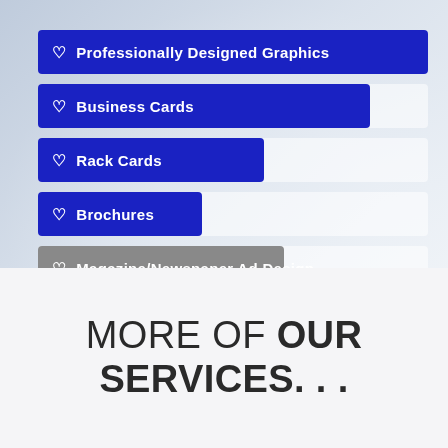[Figure (bar-chart): Services horizontal bar chart]
MORE OF OUR SERVICES. . .